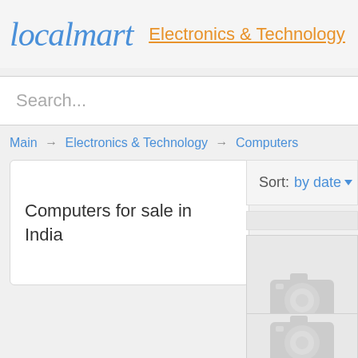localmart — Electronics & Technology
Search...
Main → Electronics & Technology → Computers
Computers for sale in India
Sort: by date ▼
[Figure (photo): Placeholder image with camera icon (no photo available), listing item 1]
[Figure (photo): Placeholder image with camera icon (no photo available), listing item 2 (partially visible)]